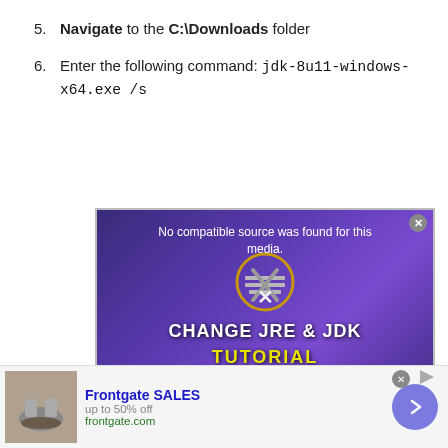5. Navigate to the C:\Downloads folder
6. Enter the following command: jdk-8u11-windows-x64.exe /s
[Figure (screenshot): A video player showing 'No compatible source was found for this media.' error message overlaid on a purple/violet background with a golden circle icon and an X symbol. The text reads 'CHANGE JRE & JDK TUTORIAL' with 'TUTORIAL' in yellow.]
[Figure (screenshot): Advertisement banner for Frontgate SALES - up to 50% off, frontgate.com, with an image of outdoor furniture and a blue circular arrow button.]